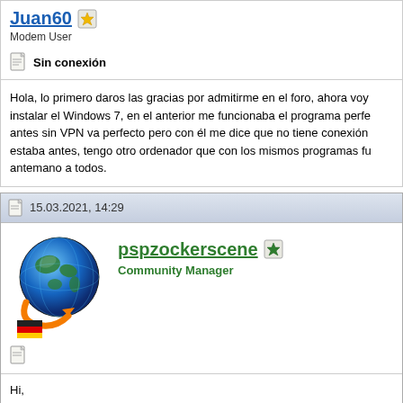Juan60 [star icon] Modem User
Sin conexión
Hola, lo primero daros las gracias por admitirme en el foro, ahora voy instalar el Windows 7, en el anterior me funcionaba el programa perfe antes sin VPN va perfecto pero con él me dice que no tiene conexión estaba antes, tengo otro ordenador que con los mismos programas fu antemano a todos.
15.03.2021, 14:29
pspzockerscene Community Manager
Hi,
Please post your log-ID here | bitte poste deine Log-ID hier.
-psp-
JD Supporter, Plugin De